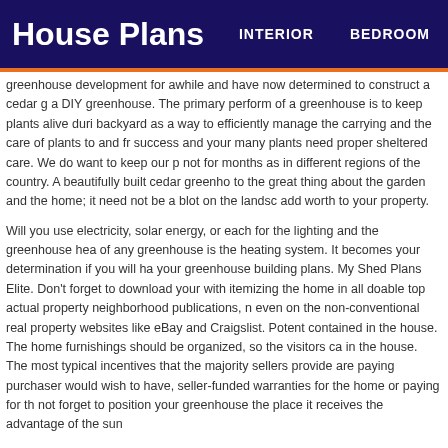House Plans  INTERIOR  BEDROOM
greenhouse development for awhile and have now determined to construct a cedar g a DIY greenhouse. The primary perform of a greenhouse is to keep plants alive duri backyard as a way to efficiently manage the carrying and the care of plants to and fr success and your many plants need proper sheltered care. We do want to keep our p not for months as in different regions of the country. A beautifully built cedar greenho to the great thing about the garden and the home; it need not be a blot on the landsc add worth to your property.
Will you use electricity, solar energy, or each for the lighting and the greenhouse hea of any greenhouse is the heating system. It becomes your determination if you will ha your greenhouse building plans. My Shed Plans Elite. Don't forget to download your with itemizing the home in all doable top actual property neighborhood publications, n even on the non-conventional real property websites like eBay and Craigslist. Potent contained in the house. The home furnishings should be organized, so the visitors ca in the house. The most typical incentives that the majority sellers provide are paying purchaser would wish to have, seller-funded warranties for the home or paying for th not forget to position your greenhouse the place it receives the advantage of the sun